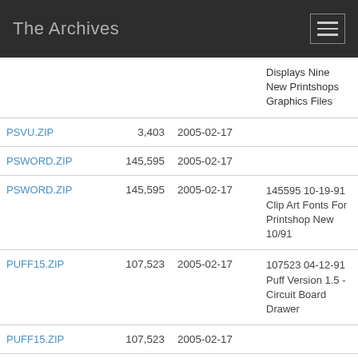The Archives
| Filename | Size | Date | Description |
| --- | --- | --- | --- |
|  |  |  | Displays Nine New Printshops Graphics Files |
| PSVU.ZIP | 3,403 | 2005-02-17 |  |
| PSWORD.ZIP | 145,595 | 2005-02-17 |  |
| PSWORD.ZIP | 145,595 | 2005-02-17 | 145595 10-19-91 Clip Art Fonts For Printshop New 10/91 |
| PUFF15.ZIP | 107,523 | 2005-02-17 | 107523 04-12-91 Puff Version 1.5 - Circuit Board Drawer |
| PUFF15.ZIP | 107,523 | 2005-02-17 |  |
| PV138.ZIP | 132,390 | 2005-02-17 | 132390 07-13-91 .pic View Graphics |